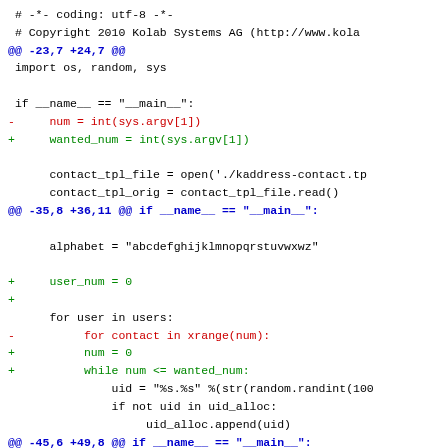[Figure (other): Source code diff showing Python script changes including variable rename from num to wanted_num, addition of user_num, and loop restructuring from xrange to while loop]